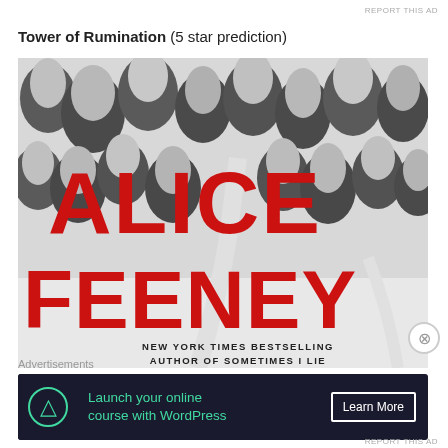REPORT THIS AD
Tower of Rumination (5 star prediction)
[Figure (photo): Book cover showing aerial view of snow-covered trees with large red text 'ALICE FEENEY' and subtitle 'NEW YORK TIMES BESTSELLING AUTHOR OF SOMETIMES I LIE']
Advertisements
Launch your online course with WordPress — Learn More